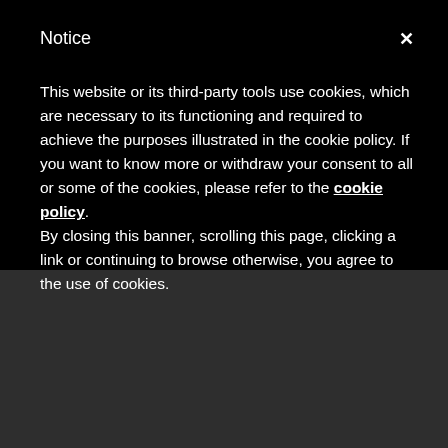Notice
This website or its third-party tools use cookies, which are necessary to its functioning and required to achieve the purposes illustrated in the cookie policy. If you want to know more or withdraw your consent to all or some of the cookies, please refer to the cookie policy. By closing this banner, scrolling this page, clicking a link or continuing to browse otherwise, you agree to the use of cookies.